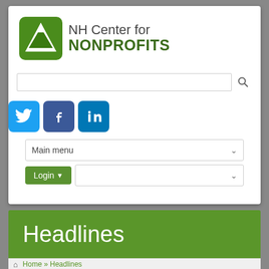[Figure (logo): NH Center for Nonprofits logo with green mountain icon and text]
[Figure (screenshot): Search input bar with magnifying glass icon]
[Figure (screenshot): Social media icons: Twitter (blue bird), Facebook (blue f), LinkedIn (blue in)]
[Figure (screenshot): Main menu dropdown bar]
[Figure (screenshot): Login button (green) and secondary dropdown]
Headlines
Home » Headlines